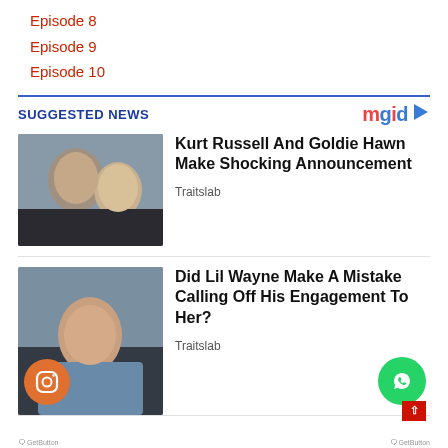Episode 8
Episode 9
Episode 10
SUGGESTED NEWS
[Figure (other): Logo: mgid with play button]
[Figure (photo): Kurt Russell and Goldie Hawn photo]
Kurt Russell And Goldie Hawn Make Shocking Announcement
Traitslab
[Figure (photo): Woman in bikini photo]
Did Lil Wayne Make A Mistake Calling Off His Engagement To Her?
Traitslab